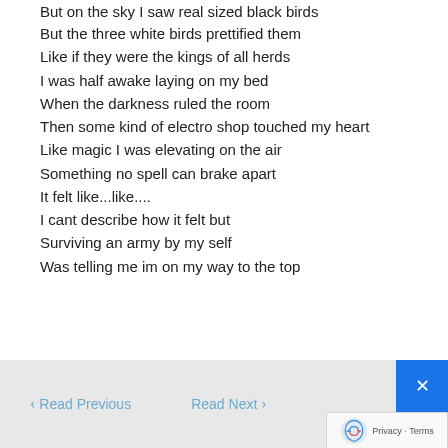But on the sky I saw real sized black birds
But the three white birds prettified them
Like if they were the kings of all herds
I was half awake laying on my bed
When the darkness ruled the room
Then some kind of electro shop touched my heart
Like magic I was elevating on the air
Something no spell can brake apart
It felt like...like....
I cant describe how it felt but
Surviving an army by my self
Was telling me im on my way to the top
< Read Previous   Read Next >